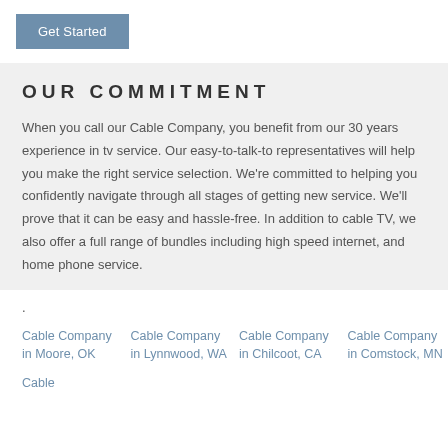Get Started
OUR COMMITMENT
When you call our Cable Company, you benefit from our 30 years experience in tv service. Our easy-to-talk-to representatives will help you make the right service selection. We're committed to helping you confidently navigate through all stages of getting new service. We'll prove that it can be easy and hassle-free. In addition to cable TV, we also offer a full range of bundles including high speed internet, and home phone service.
.
Cable Company in Moore, OK
Cable Company in Lynnwood, WA
Cable Company in Chilcoot, CA
Cable Company in Comstock, MN
Cable